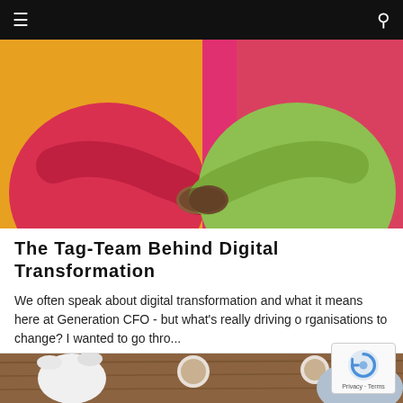≡  🔍
[Figure (photo): Two people doing a fist bump, one wearing a red/pink top against yellow background, the other wearing green top against pink background]
The Tag-Team Behind Digital Transformation
We often speak about digital transformation and what it means here at Generation CFO - but what's really driving organisations to change? I wanted to go thro...
[Figure (photo): Overhead view of people sitting around a wooden table with documents and laptops]